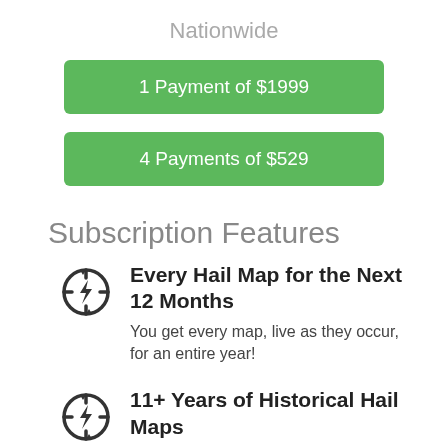Nationwide
1 Payment of $1999
4 Payments of $529
Subscription Features
Every Hail Map for the Next 12 Months
You get every map, live as they occur, for an entire year!
11+ Years of Historical Hail Maps
View all the storms since January 2011.